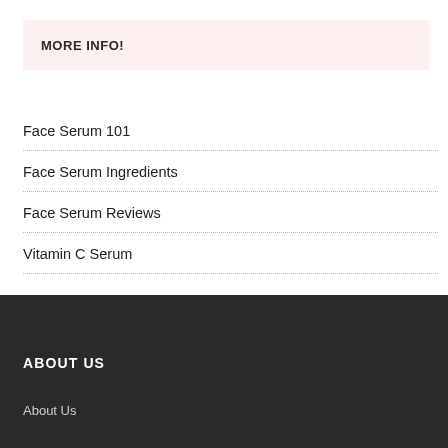MORE INFO!
Face Serum 101
Face Serum Ingredients
Face Serum Reviews
Vitamin C Serum
ABOUT US
About Us